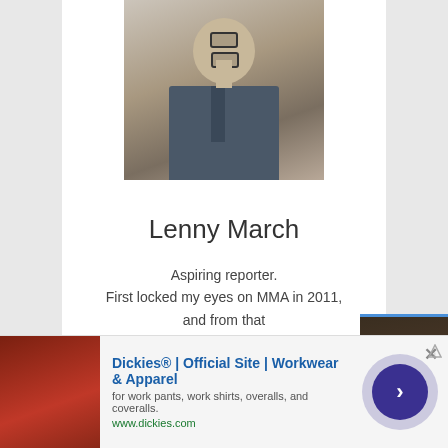[Figure (photo): Profile photo of Lenny March, a young man wearing glasses, a suit jacket, and tie, taking a selfie indoors.]
Lenny March
Aspiring reporter.
First locked my eyes on MMA in 2011, and from that night I knew I was invested... haven't took my eyes of
Growing up watch... and watch the be...
Been dedicated... MMA more then... and wont s...
[Figure (screenshot): Video overlay showing two people facing each other with a dog visible, with yellow text overlay reading: "AFTER I KNOCK YOU OUT IM GONNA F**K YOUR DOG" and subtitle bar reading "After I knock you out..."]
[Figure (other): Advertisement banner for Dickies Official Site - Workwear & Apparel. Text: 'Dickies® | Official Site | Workwear & Apparel', 'for work pants, work shirts, overalls, and coveralls.', 'www.dickies.com']